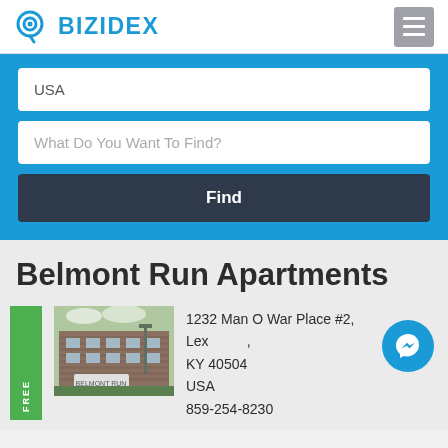BIZIDEX
USA
What Do You Want To Find?
Find
Belmont Run Apartments
FREE
[Figure (photo): Photo of Belmont Run Apartments building exterior with sign and landscaping]
1232 Man O War Place #2, Lexington, KY 40504
USA
859-254-8230